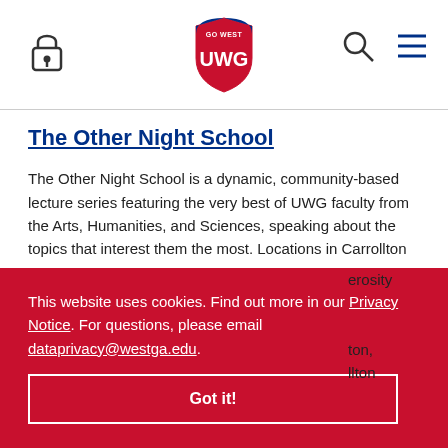UWG navigation header with lock icon, UWG logo, search icon, and menu icon
The Other Night School
The Other Night School is a dynamic, community-based lecture series featuring the very best of UWG faculty from the Arts, Humanities, and Sciences, speaking about the topics that interest them the most. Locations in Carrollton
This website uses cookies. Find out more in our Privacy Notice. For questions, please email dataprivacy@westga.edu.
Got it!